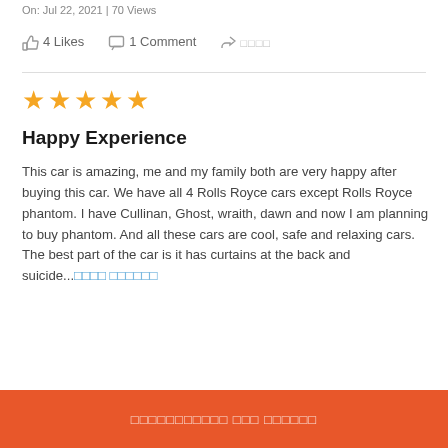On: Jul 22, 2021 | 70 Views
4 Likes   1 Comment   □□□□
★★★★★
Happy Experience
This car is amazing, me and my family both are very happy after buying this car. We have all 4 Rolls Royce cars except Rolls Royce phantom. I have Cullinan, Ghost, wraith, dawn and now I am planning to buy phantom. And all these cars are cool, safe and relaxing cars. The best part of the car is it has curtains at the back and suicide...□□□□ □□□□□□
□□□□□□□□□□□ □□□ □□□□□□